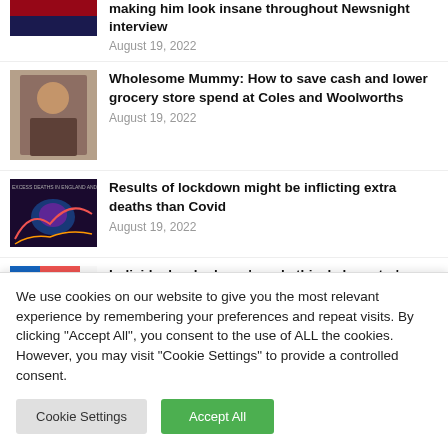making him look insane throughout Newsnight interview
August 19, 2022
Wholesome Mummy: How to save cash and lower grocery store spend at Coles and Woolworths
August 19, 2022
Results of lockdown might be inflicting extra deaths than Covid
August 19, 2022
Individuals who have 'good ethical character' are
We use cookies on our website to give you the most relevant experience by remembering your preferences and repeat visits. By clicking "Accept All", you consent to the use of ALL the cookies. However, you may visit "Cookie Settings" to provide a controlled consent.